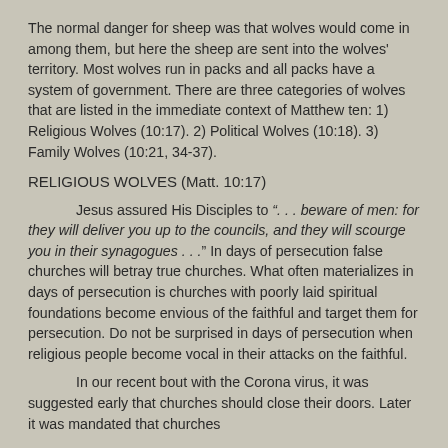The normal danger for sheep was that wolves would come in among them, but here the sheep are sent into the wolves' territory.  Most wolves run in packs and all packs have a system of government.  There are three categories of wolves that are listed in the immediate context of Matthew ten: 1) Religious Wolves (10:17).  2) Political Wolves (10:18).  3) Family Wolves (10:21, 34-37).
RELIGIOUS WOLVES (Matt. 10:17)
Jesus assured His Disciples to “. . . beware of men: for they will deliver you up to the councils, and they will scourge you in their synagogues . . .”  In days of persecution false churches will betray true churches.  What often materializes in days of persecution is churches with poorly laid spiritual foundations become envious of the faithful and target them for persecution.  Do not be surprised in days of persecution when religious people become vocal in their attacks on the faithful.
In our recent bout with the Corona virus, it was suggested early that churches should close their doors.  Later it was mandated that churches could not have more than a group of twenty-five gathered.